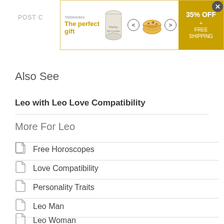[Figure (other): Advertisement banner for 'The perfect gift' product showing 35% OFF and FREE SHIPPING]
Also See
Leo with Leo Love Compatibility
More For Leo
Free Horoscopes
Love Compatibility
Personality Traits
Leo Man
Leo Woman